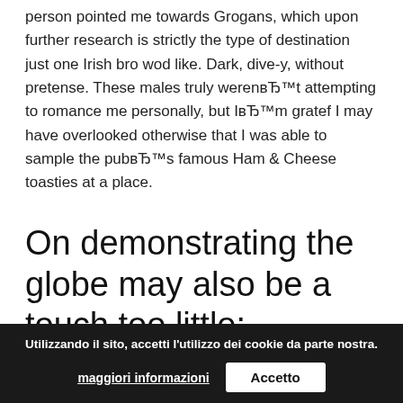person pointed me towards Grogans, which upon further research is strictly the type of destination just one Irish bro wod like. Dark, dive-y, without pretense. These males truly werenвЂ™t attempting to romance me personally, but IвЂ™m gratef I may have overlooked otherwise that I was able to sample the pubвЂ™s famous Ham & Cheese toasties at a place.
On demonstrating the globe may also be a touch too little:
Social networking, 23. Man looking for males.
He previously an image beside me inside the profileвЂ”IвЂ™m arbitrarily into the history associated
[Figure (screenshot): Cookie consent banner overlay with dark background. Text in Italian: 'Utilizzando il sito, accetti l'utilizzo dei cookie da parte nostra.' Buttons: 'maggiori informazioni' (underlined) and 'Accetto' (white button).]